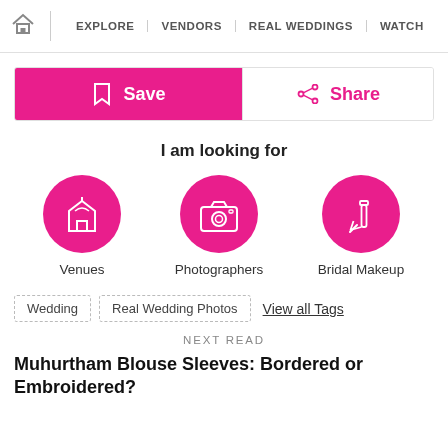EXPLORE | VENDORS | REAL WEDDINGS | WATCH
Save
Share
I am looking for
[Figure (infographic): Three pink circular icons with white icons inside: Venues (church/building), Photographers (camera), Bridal Makeup (lipstick/brush)]
Venues
Photographers
Bridal Makeup
Wedding   Real Wedding Photos   View all Tags
NEXT READ
Muhurtham Blouse Sleeves: Bordered or Embroidered?